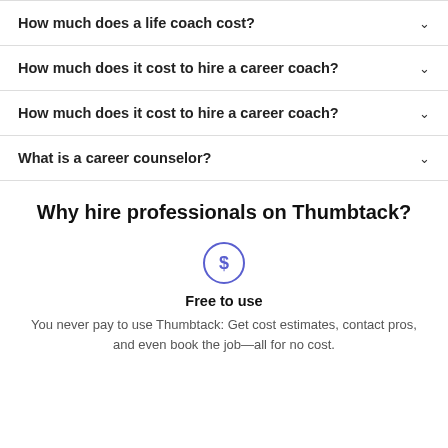How much does a life coach cost?
How much does it cost to hire a career coach?
How much does it cost to hire a career coach?
What is a career counselor?
Why hire professionals on Thumbtack?
[Figure (illustration): Dollar sign icon inside a circle, rendered in purple/indigo outline style]
Free to use
You never pay to use Thumbtack: Get cost estimates, contact pros, and even book the job—all for no cost.